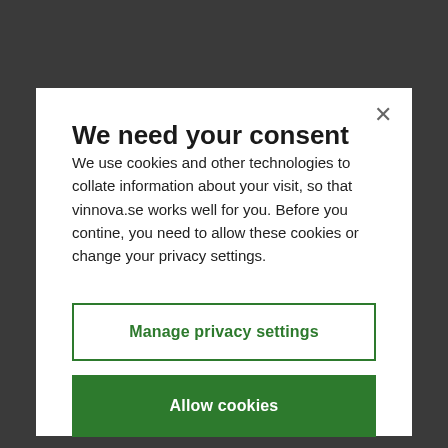We need your consent
We use cookies and other technologies to collate information about your visit, so that vinnova.se works well for you. Before you contine, you need to allow these cookies or change your privacy settings.
Manage privacy settings
Allow cookies